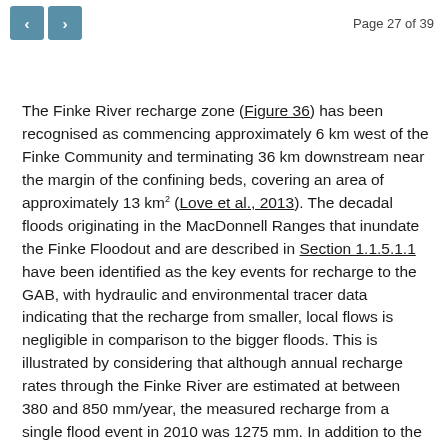Page 27 of 39
The Finke River recharge zone (Figure 36) has been recognised as commencing approximately 6 km west of the Finke Community and terminating 36 km downstream near the margin of the confining beds, covering an area of approximately 13 km² (Love et al., 2013). The decadal floods originating in the MacDonnell Ranges that inundate the Finke Floodout and are described in Section 1.1.5.1.1 have been identified as the key events for recharge to the GAB, with hydraulic and environmental tracer data indicating that the recharge from smaller, local flows is negligible in comparison to the bigger floods. This is illustrated by considering that although annual recharge rates through the Finke River are estimated at between 380 and 850 mm/year, the measured recharge from a single flood event in 2010 was 1275 mm. In addition to the infiltration in the Finke River recharge zone, observational evidence suggests that the floodwaters reaching the Finke Floodout recharge a shallow aquifer, which helps sustain